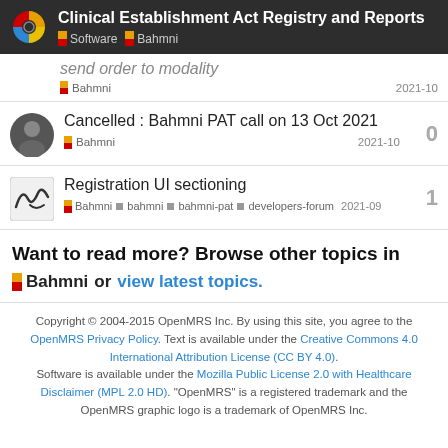Clinical Establishment Act Registry and Reports — Software | Bahmni
send order to modality
Bahmni   2021-10
Cancelled : Bahmni PAT call on 13 Oct 2021   0
Bahmni   2021-10
Registration UI sectioning   1
Bahmni ■ bahmni ■ bahmni-pat ■ developers-forum   2021-09
Want to read more? Browse other topics in Bahmni or view latest topics.
Copyright © 2004-2015 OpenMRS Inc. By using this site, you agree to the OpenMRS Privacy Policy. Text is available under the Creative Commons 4.0 International Attribution License (CC BY 4.0). Software is available under the Mozilla Public License 2.0 with Healthcare Disclaimer (MPL 2.0 HD). "OpenMRS" is a registered trademark and the OpenMRS graphic logo is a trademark of OpenMRS Inc.